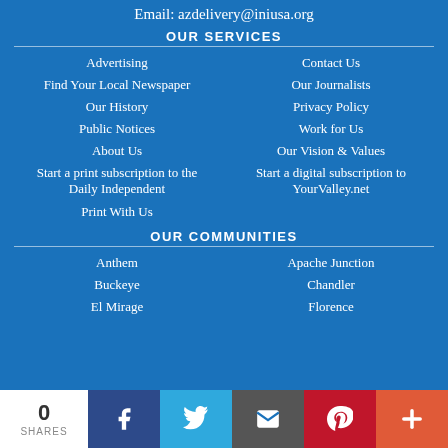Email: azdelivery@iniusa.org
OUR SERVICES
Advertising
Contact Us
Find Your Local Newspaper
Our Journalists
Our History
Privacy Policy
Public Notices
Work for Us
About Us
Our Vision & Values
Start a print subscription to the Daily Independent
Start a digital subscription to YourValley.net
Print With Us
OUR COMMUNITIES
Anthem
Apache Junction
Buckeye
Chandler
El Mirage
Florence
0 SHARES